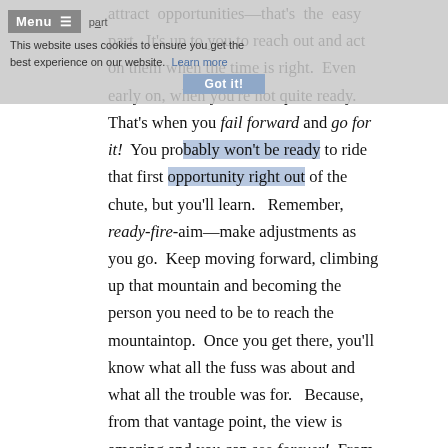attract opportunities—that's the easy part. It's up to you to reach out and act on them when the time is right. Even early on, when you're not quite ready. That's when you fail forward and go for it! You probably won't be ready to ride that first opportunity right out of the chute, but you'll learn. Remember, ready-fire-aim—make adjustments as you go. Keep moving forward, climbing up that mountain and becoming the person you need to be to reach the mountaintop. Once you get there, you'll know what all the fuss was about and what all the trouble was for. Because, from that vantage point, the view is amazing and you can see forever! From up there, you will begin to understand and appreciate all that you had to go through. But, before any of that…